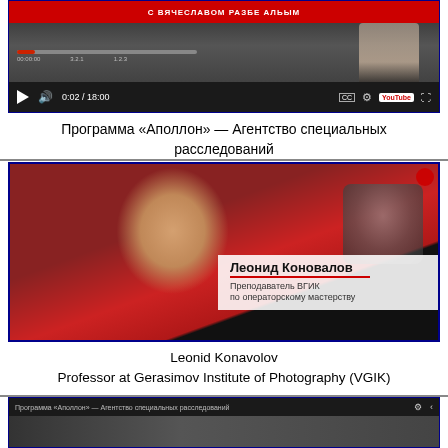[Figure (screenshot): YouTube video screenshot showing a video titled with Russian text, with a timeline bar showing 0:02/18:00 and standard YouTube controls]
Программа «Аполлон» — Агентство специальных расследований
[Figure (screenshot): Video screenshot of a man in a red jacket speaking, with a name chyron overlay reading 'Леонид Коновалов, Преподаватель ВГИК по операторскому мастерству']
Leonid Konavolov
Professor at Gerasimov Institute of Photography (VGIK)
[Figure (screenshot): Partial bottom video screenshot showing 'Программа «Аполлон» — Агентство специальных расследований' in the top bar]